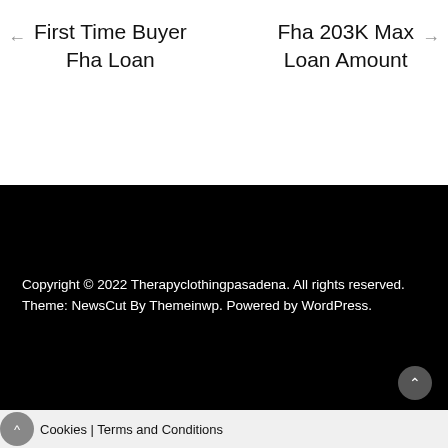← First Time Buyer Fha Loan
Fha 203K Max Loan Amount →
Copyright © 2022 Therapyclothingpasadena. All rights reserved.
Theme: NewsCut By Themeinwp. Powered by WordPress.
Cookies | Terms and Conditions